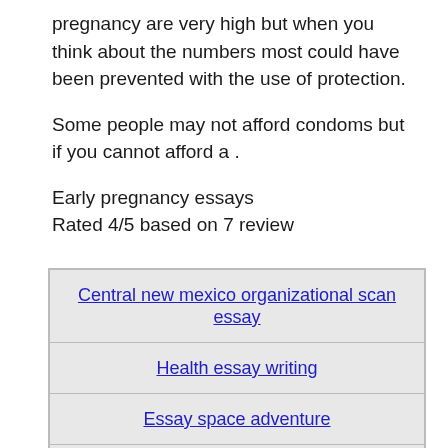pregnancy are very high but when you think about the numbers most could have been prevented with the use of protection.
Some people may not afford condoms but if you cannot afford a .
Early pregnancy essays
Rated 4/5 based on 7 review
| Central new mexico organizational scan essay |
| Health essay writing |
| Essay space adventure |
| Docu meaning of life and affirmative team essay |